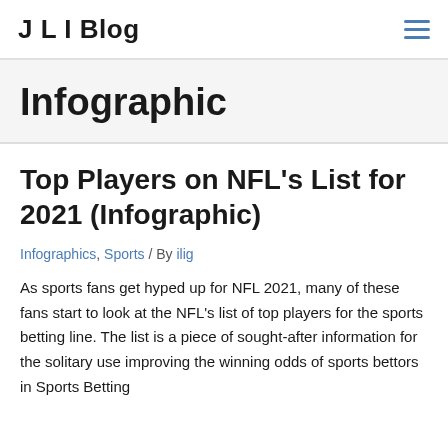J L I Blog
Infographic
Top Players on NFL’s List for 2021 (Infographic)
Infographics, Sports / By ilig
As sports fans get hyped up for NFL 2021, many of these fans start to look at the NFL’s list of top players for the sports betting line. The list is a piece of sought-after information for the solitary use improving the winning odds of sports bettors in Sports Betting